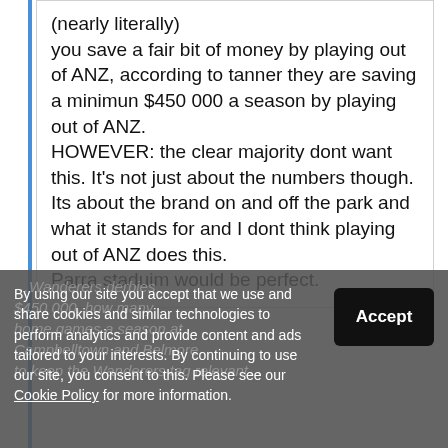(nearly literally)
you save a fair bit of money by playing out of ANZ, according to tanner they are saving a minimun $450 000 a season by playing out of ANZ.
HOWEVER: the clear majority dont want this. It's not just about the numbers though. Its about the brand on and off the park and what it stands for and I dont think playing out of ANZ does this.
Parra staduim would be perfect.
By using our site you accept that we use and share cookies and similar technologies to perform analytics and provide content and ads tailored to your interests. By continuing to use our site, you consent to this. Please see our Cookie Policy for more information.